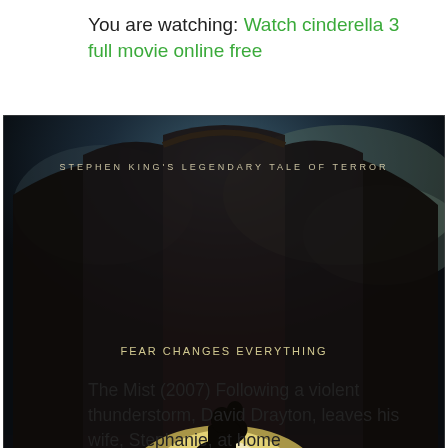You are watching: Watch cinderella 3 full movie online free
[Figure (photo): Movie poster for 'The Mist' (2007). Shows a silhouette of a man holding a child standing before a large glass window/wall with an ominous glowing mist outside. Text reads 'STEPHEN KING'S LEGENDARY TALE OF TERROR', 'FEAR CHANGES EVERYTHING', 'THE MIST', and credits from Frank Darabont.]
The Mist (2007) Following a violent thunderstorm, David Drayton, leaves his wife, Stephanie, at home